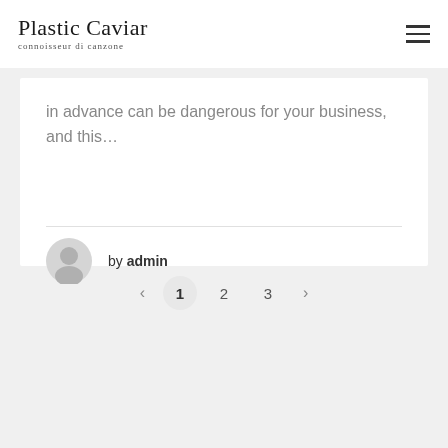Plastic Caviar — connoisseur di canzone
in advance can be dangerous for your business, and this…
by admin
< 1 2 3 >